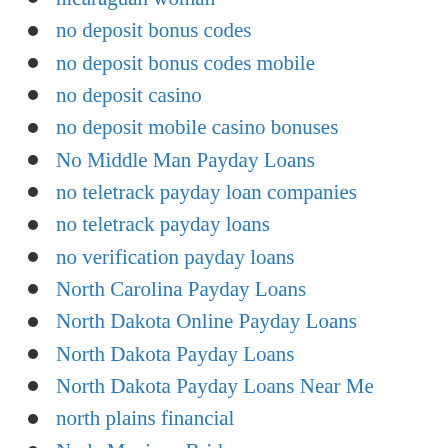nicaraguan woman
no deposit bonus codes
no deposit bonus codes mobile
no deposit casino
no deposit mobile casino bonuses
No Middle Man Payday Loans
no teletrack payday loan companies
no teletrack payday loans
no verification payday loans
North Carolina Payday Loans
North Dakota Online Payday Loans
North Dakota Payday Loans
North Dakota Payday Loans Near Me
north plains financial
Nude Mexican Brides
nude russian brides